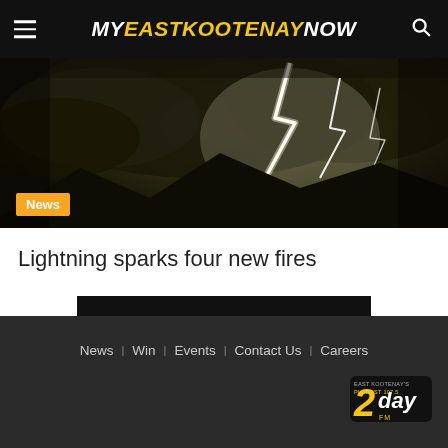MY EAST KOOTENAY NOW
[Figure (photo): Lightning storm photo with dramatic lightning bolts against dark cloudy sky over mountains, with an orange 'News' badge overlaid at bottom left]
Lightning sparks four new fires
LOAD MORE
News  Win  Events  Contact Us  Careers